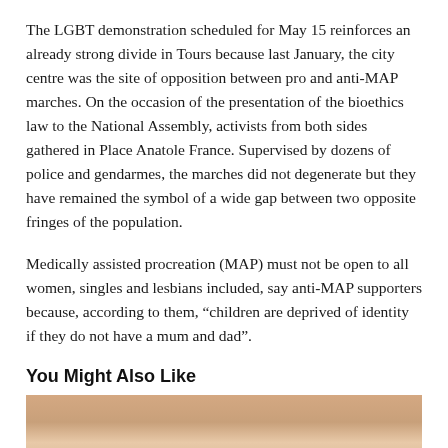The LGBT demonstration scheduled for May 15 reinforces an already strong divide in Tours because last January, the city centre was the site of opposition between pro and anti-MAP marches. On the occasion of the presentation of the bioethics law to the National Assembly, activists from both sides gathered in Place Anatole France. Supervised by dozens of police and gendarmes, the marches did not degenerate but they have remained the symbol of a wide gap between two opposite fringes of the population.
Medically assisted procreation (MAP) must not be open to all women, singles and lesbians included, say anti-MAP supporters because, according to them, “children are deprived of identity if they do not have a mum and dad”.
You Might Also Like
[Figure (photo): Close-up photo of a child's face showing blue eyes prominently, cropped to show from forehead to just below the eyes.]